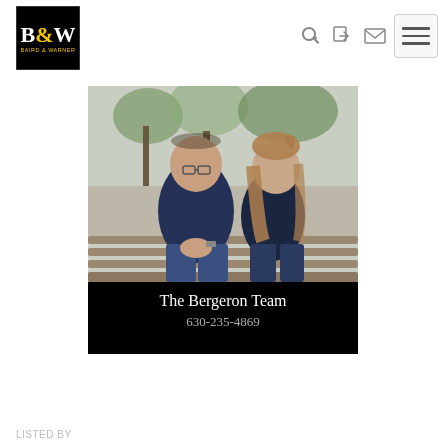[Figure (logo): Baird & Warner logo — black square with B&W in white/yellow serif text]
[Figure (photo): Professional photo of The Bergeron Team — a man and woman sitting on a bench outdoors, both wearing dark navy blue clothing. Black banner below with name and phone number.]
The Bergeron Team
630-235-4869
LISTED BY